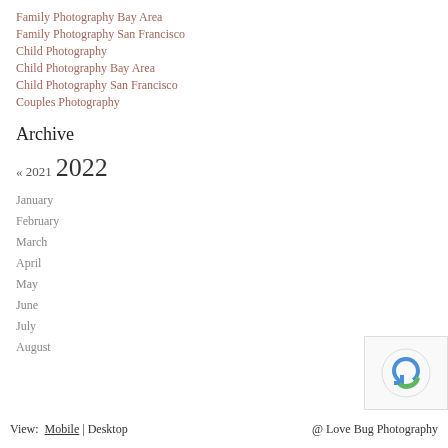Family Photography Bay Area
Family Photography San Francisco
Child Photography
Child Photography Bay Area
Child Photography San Francisco
Couples Photography
Archive
« 2021  2022
January
February
March
April
May
June
July
August
View: Mobile | Desktop   @ Love Bug Photography